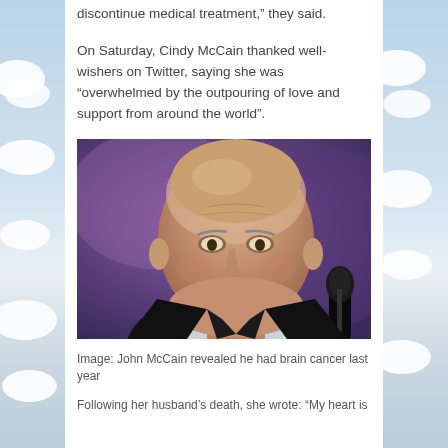discontinue medical treatment,” they said.
On Saturday, Cindy McCain thanked well-wishers on Twitter, saying she was “overwhelmed by the outpouring of love and support from around the world”.
[Figure (photo): Close-up photograph of John McCain, an elderly bald man in a dark suit and tie, speaking at a microphone against a purple/blue blurred background.]
Image: John McCain revealed he had brain cancer last year Following her husband’s death, she wrote: “My heart is
Following her husband’s death, she wrote: “My heart is